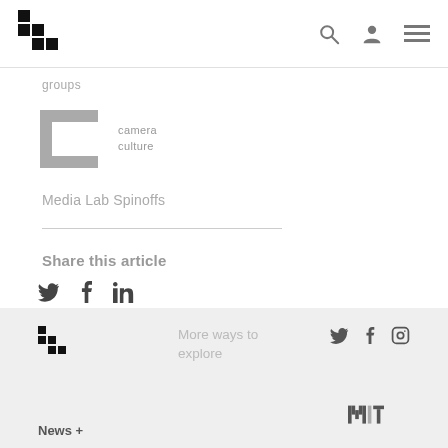MIT Media Lab navigation header with logo, search, user, and menu icons
Groups
[Figure (logo): Camera Culture group logo — square bracket C shape in gray with text 'camera culture']
Media Lab Spinoffs
Share this article
[Figure (infographic): Social share icons: Twitter bird, Facebook f, LinkedIn in]
MIT Media Lab footer with logo, 'More ways to explore', social icons (Twitter, Facebook, Instagram), MIT logo, News +